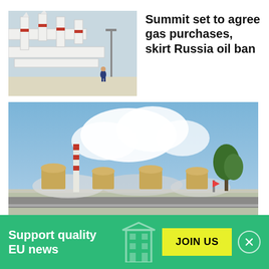[Figure (photo): Industrial gas pipeline facility with large white pipes and valves, a worker in blue coveralls walking through the facility]
Summit set to agree gas purchases, skirt Russia oil ban
[Figure (photo): Zaporizhzhia nuclear power plant viewed from a distance, showing reactor domes and cooling structures with steam, trees on the right, under a blue sky with clouds]
Support quality EU news
JOIN US